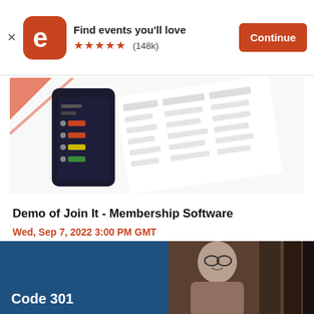[Figure (screenshot): Eventbrite app install banner with orange logo icon, 'Find events you'll love' text, 5 stars and (148k) rating, and a Continue button]
[Figure (screenshot): Partial product screenshot showing a mobile app interface with a task/list UI on dark phone screen and a spreadsheet-like panel]
Demo of Join It - Membership Software
Wed, Sep 7, 2022 3:00 PM GMT
Free
[Figure (photo): Blue-toned banner image showing a smiling person with glasses on right side and dark server/data center background. Text 'Code 301' visible in bottom-left.]